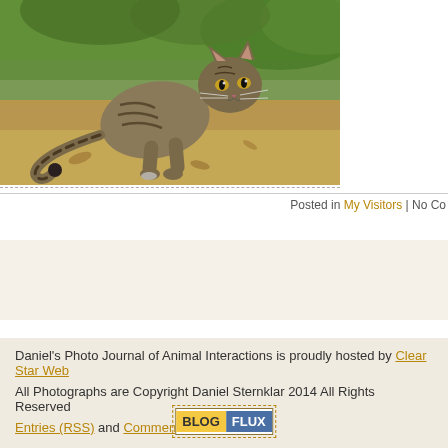[Figure (photo): A tabby cat crouching low on dry grass/dirt ground with green grass in the background, photographed outdoors in natural light.]
Posted in My Visitors | No Co
[Figure (other): Advertisement placeholder box with beige background]
Daniel's Photo Journal of Animal Interactions is proudly hosted by Clear Star Web
All Photographs are Copyright Daniel Sternklar 2014 All Rights Reserved
Entries (RSS) and Comments (RSS).
[Figure (logo): BlogFlux badge/button with yellow BLOG and blue FLUX text]